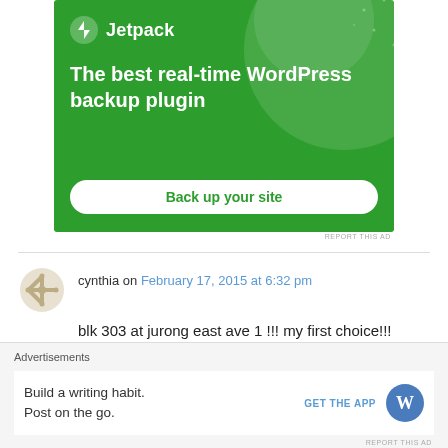[Figure (screenshot): Jetpack WordPress backup plugin advertisement banner with green background, logo, tagline 'The best real-time WordPress backup plugin', and 'Back up your site' button]
REPORT THIS AD
cynthia on February 17, 2015 at 6:32 pm
blk 303 at jurong east ave 1 !!! my first choice!!!
Advertisements
[Figure (screenshot): Bottom advertisement bar: 'Build a writing habit. Post on the go.' with GET THE APP button and WordPress logo]